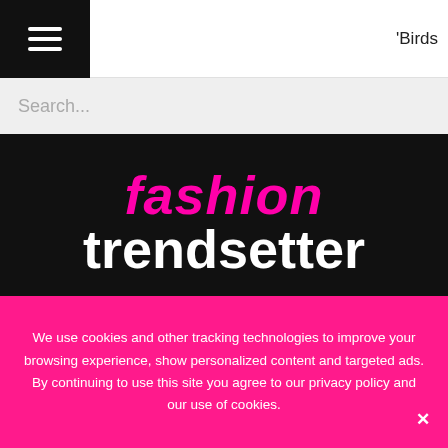'Birds
Search...
fashion trendsetter
[Figure (photo): Two side-by-side photos of tropical/botanical fabric or wallpaper patterns with lush greenery and bird motifs on dark backgrounds, with green cushions visible in the left image.]
We use cookies and other tracking technologies to improve your browsing experience, show personalized content and targeted ads. By continuing to use this site you agree to our privacy policy and our use of cookies.